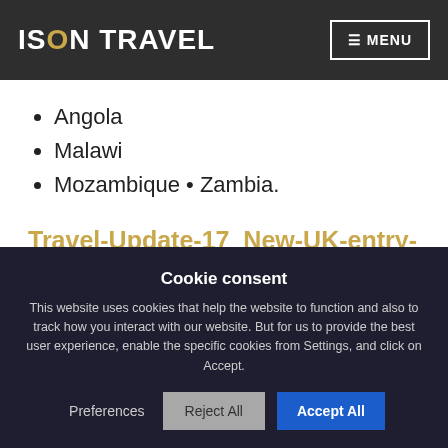ISON TRAVEL  ☰ MENU
Angola
Malawi
Mozambique • Zambia.
Travel-Update-17_New-UK-entry-rules_28.11.21 – PDF
Cookie consent
This website uses cookies that help the website to function and also to track how you interact with our website. But for us to provide the best user experience, enable the specific cookies from Settings, and click on Accept.
Preferences  Reject All  Accept All